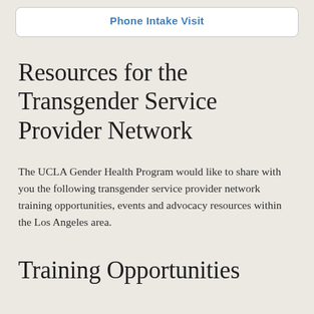[Figure (other): White rounded card/button with blue bold text 'Phone Intake Visit']
Resources for the Transgender Service Provider Network
The UCLA Gender Health Program would like to share with you the following transgender service provider network training opportunities, events and advocacy resources within the Los Angeles area.
Training Opportunities